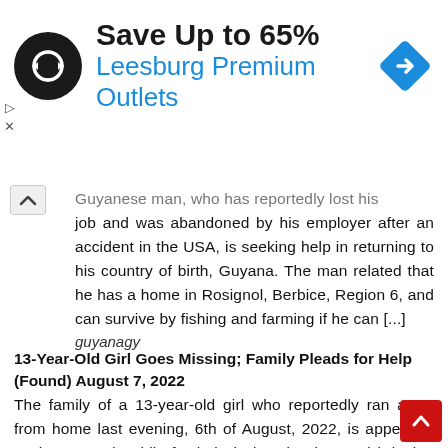[Figure (other): Advertisement banner: circular black logo with loop arrows icon, text 'Save Up to 65%' in bold black and 'Leesburg Premium Outlets' in blue, with a blue diamond navigation icon on the right.]
Guyanese man, who has reportedly lost his job and was abandoned by his employer after an accident in the USA, is seeking help in returning to his country of birth, Guyana. The man related that he has a home in Rosignol, Berbice, Region 6, and can survive by fishing and farming if he can [...]
guyanagy
13-Year-Old Girl Goes Missing; Family Pleads for Help (Found) August 7, 2022
The family of a 13-year-old girl who reportedly ran away from home last evening, 6th of August, 2022, is appealing to the general public for help in locating her and bringing her back home safely. A close relative of the girl